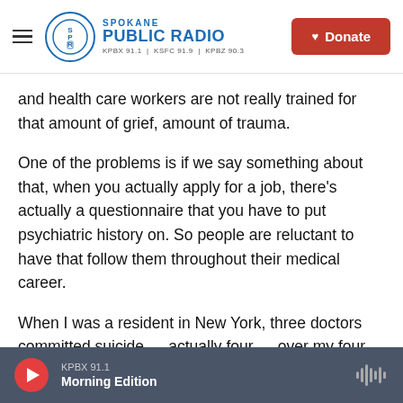Spokane Public Radio — KPBX 91.1 | KSFC 91.9 | KPBZ 90.3 | Donate
and health care workers are not really trained for that amount of grief, amount of trauma.
One of the problems is if we say something about that, when you actually apply for a job, there's actually a questionnaire that you have to put psychiatric history on. So people are reluctant to have that follow them throughout their medical career.
When I was a resident in New York, three doctors committed suicide — actually four — over my four years there. And so this is a very prevalent problem
KPBX 91.1 Morning Edition